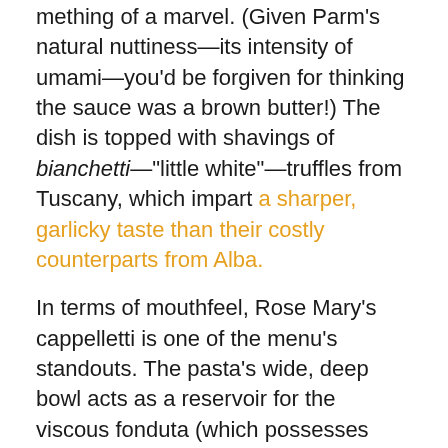mething of a marvel. (Given Parm's natural nuttiness—its intensity of umami—you'd be forgiven for thinking the sauce was a brown butter!) The dish is topped with shavings of bianchetti—"little white"—truffles from Tuscany, which impart a sharper, garlicky taste than their costly counterparts from Alba.
In terms of mouthfeel, Rose Mary's cappelletti is one of the menu's standouts. The pasta's wide, deep bowl acts as a reservoir for the viscous fonduta (which possesses greater flavor than the cacio e pepe's sauce but less "sticking power"). Yet, the cappelletti's "rim" is thin enough to allow—in the mouth—for a pleasurable convergence of one end onto the other. This makes for a doubly chewy sensation that traps the fonduta and truffle shavings within collapsing layers of the pasta.